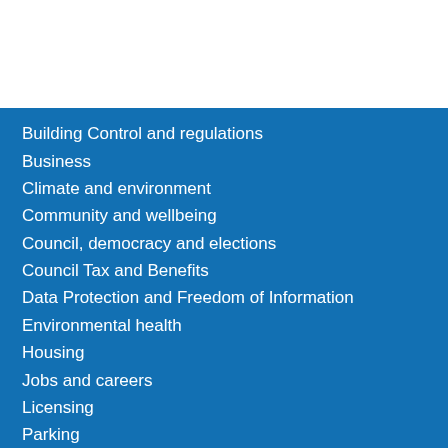Building Control and regulations
Business
Climate and environment
Community and wellbeing
Council, democracy and elections
Council Tax and Benefits
Data Protection and Freedom of Information
Environmental health
Housing
Jobs and careers
Licensing
Parking
Parks and countryside
Planning and development